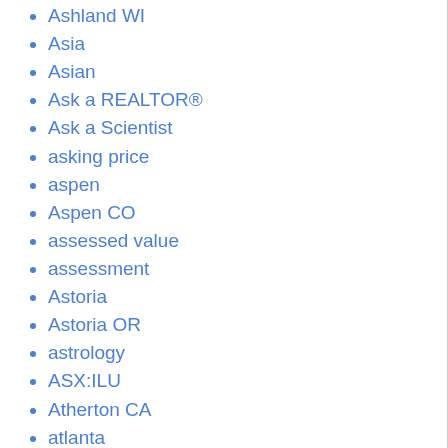Ashland WI
Asia
Asian
Ask a REALTOR®
Ask a Scientist
asking price
aspen
Aspen CO
assessed value
assessment
Astoria
Astoria OR
astrology
ASX:ILU
Atherton CA
atlanta
Atlanta Braves
Atlanta GA
Atlantic Beach FL